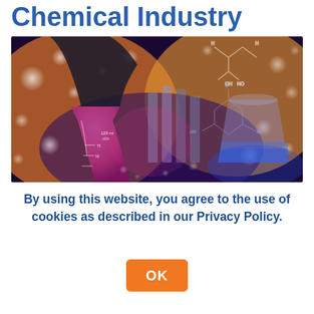Chemical Industry
[Figure (photo): Laboratory photo showing glass beakers and test tubes with colorful liquids (red/pink/blue), chemical structure diagrams overlaid in background, bokeh lights in orange and gold]
By using this website, you agree to the use of cookies as described in our Privacy Policy.
OK